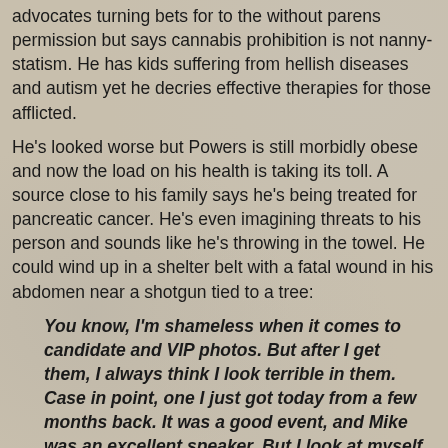advocates turning bets for to the without parens permission but says cannabis prohibition is not nanny-statism. He has kids suffering from hellish diseases and autism yet he decries effective therapies for those afflicted.
He's looked worse but Powers is still morbidly obese and now the load on his health is taking its toll. A source close to his family says he's being treated for pancreatic cancer. He's even imagining threats to his person and sounds like he's throwing in the towel. He could wind up in a shelter belt with a fatal wound in his abdomen near a shotgun tied to a tree:
You know, I'm shameless when it comes to candidate and VIP photos. But after I get them, I always think I look terrible in them. Case in point, one I just got today from a few months back. It was a good event, and Mike was an excellent speaker. But I look at myself, and go "yuck." Maybe I'm as hypercritical of myself as I've ever been, and just hate photos of myself because it amplifies it, as I'm doing so today as I choose an official "Realtor" photo, and find myself rejecting most of them.